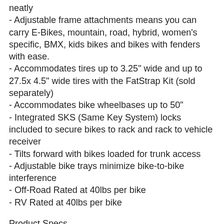neatly
- Adjustable frame attachments means you can carry E-Bikes, mountain, road, hybrid, women's specific, BMX, kids bikes and bikes with fenders with ease.
- Accommodates tires up to 3.25" wide and up to 27.5x 4.5" wide tires with the FatStrap Kit (sold separately)
- Accommodates bike wheelbases up to 50"
- Integrated SKS (Same Key System) locks included to secure bikes to rack and rack to vehicle receiver
- Tilts forward with bikes loaded for trunk access
- Adjustable bike trays minimize bike-to-bike interference
- Off-Road Rated at 40lbs per bike
- RV Rated at 40lbs per bike
Product Specs
- Weight: 42.60 lbs.
- Dimensions: L 34.00 in x W 52.00 in x H 45.00 in
- Limited Lifetime Warranty